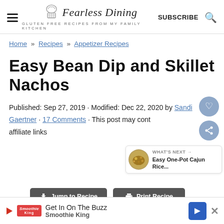Fearless Dining — GLUTEN FREE RECIPES FROM MY FAMILY KITCHEN | SUBSCRIBE
Home » Recipes » Appetizer Recipes
Easy Bean Dip and Skillet Nachos
Published: Sep 27, 2019 · Modified: Dec 22, 2020 by Sandi Gaertner · 17 Comments · This post may contain affiliate links
WHAT'S NEXT → Easy One-Pot Cajun Rice...
Jump to Recipe  Print Recipe
Get In On The Buzz  Smoothie King